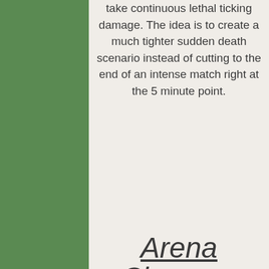take continuous lethal ticking damage. The idea is to create a much tighter sudden death scenario instead of cutting to the end of an intense match right at the 5 minute point.
Arena Changes
In addition to the Safe zone end game in order to better balance for the size of the new teams we plan on shrinking the arenas by about 1/3. This change was made in order to